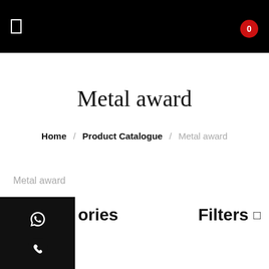Metal award — navigation header with menu icon and cart badge (0)
Metal award
Home / Product Catalogue / Metal award
Metal award
ories
Filters